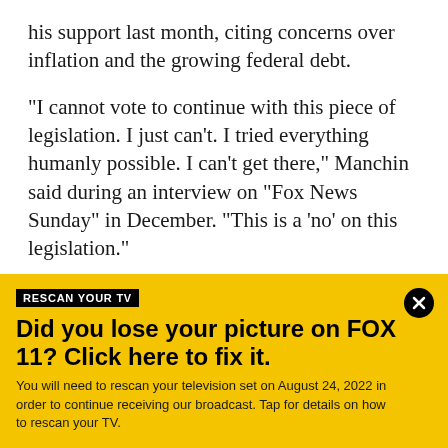his support last month, citing concerns over inflation and the growing federal debt.
"I cannot vote to continue with this piece of legislation. I just can't. I tried everything humanly possible. I can't get there," Manchin said during an interview on "Fox News Sunday" in December. "This is a 'no' on this legislation."
More than 300,000 West Virginia children benefited from the expanded credit last month, according to IRS
[Figure (infographic): Yellow banner advertisement: 'RESCAN YOUR TV' label in black box, headline 'Did you lose your picture on FOX 11? Click here to fix it.' with body text 'You will need to rescan your television set on August 24, 2022 in order to continue receiving our broadcast. Tap for details on how to rescan your TV.' Close button (X) top right.]